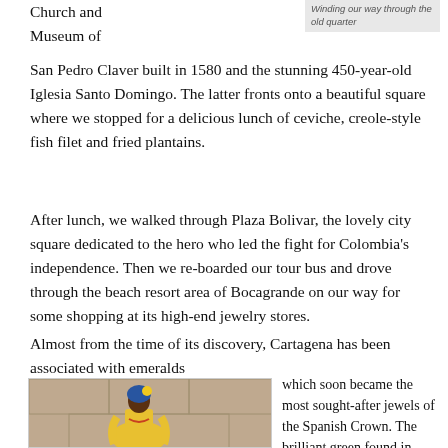Winding our way through the old quarter
Church and Museum of San Pedro Claver built in 1580 and the stunning 450-year-old Iglesia Santo Domingo. The latter fronts onto a beautiful square where we stopped for a delicious lunch of ceviche, creole-style fish filet and fried plantains.
After lunch, we walked through Plaza Bolivar, the lovely city square dedicated to the hero who led the fight for Colombia's independence. Then we re-boarded our tour bus and drove through the beach resort area of Bocagrande on our way for some shopping at its high-end jewelry stores.
Almost from the time of its discovery, Cartagena has been associated with emeralds
[Figure (photo): A woman dressed in a traditional yellow dress and blue headwrap with a yellow flower, standing in front of historic stone architecture in Cartagena.]
which soon became the most sought-after jewels of the Spanish Crown. The brilliant green found in Colombian emeralds